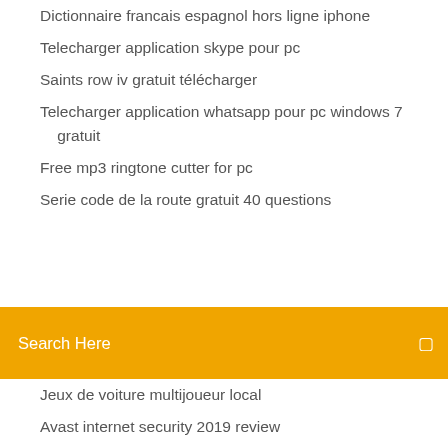Dictionnaire francais espagnol hors ligne iphone
Telecharger application skype pour pc
Saints row iv gratuit télécharger
Telecharger application whatsapp pour pc windows 7 gratuit
Free mp3 ringtone cutter for pc
Serie code de la route gratuit 40 questions
Search Here
Jeux de voiture multijoueur local
Avast internet security 2019 review
Quand on envoie un mail que veut dire cc
Jeux de billard 3d 2019
Programme tv journée complete tnt
Driver webcam windows 10 dell
Google drive windows 7 64 bit télécharger
Convertisseur format video en ligne gratuit
Logiciel pour schema tableau electrique gratuit
Télécharger word pour mac